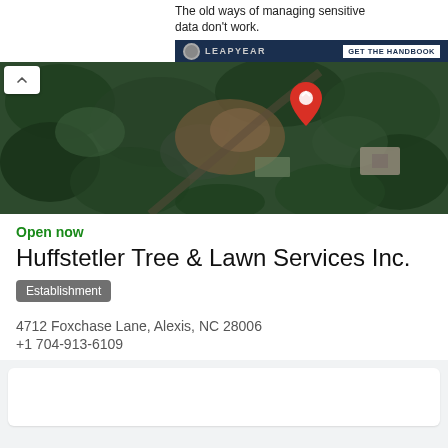[Figure (screenshot): Advertisement banner for Leapyear with text 'The old ways of managing sensitive data don't work.' and a 'GET THE HANDBOOK' button on a dark navy bar with the Leapyear logo.]
[Figure (map): Aerial satellite map view showing a wooded property with a red location pin marker, with green tree canopy and dirt areas visible.]
Open now
Huffstetler Tree & Lawn Services Inc.
Establishment
4712 Foxchase Lane, Alexis, NC 28006
+1 704-913-6109